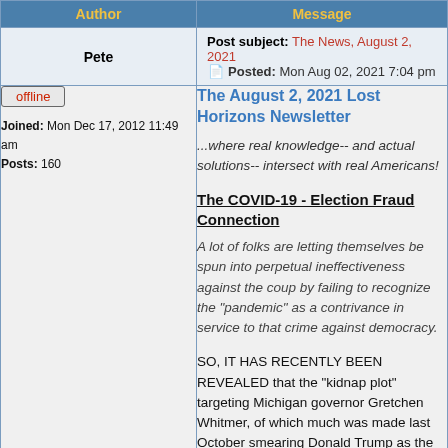| Author | Message |
| --- | --- |
| Pete | Post subject: The News, August 2, 2021
Posted: Mon Aug 02, 2021 7:04 pm |
| offline
Joined: Mon Dec 17, 2012 11:49 am
Posts: 160 | The August 2, 2021 Lost Horizons Newsletter
...where real knowledge-- and actual solutions-- intersect with real Americans!

The COVID-19 - Election Fraud Connection
A lot of folks are letting themselves be spun into perpetual ineffectiveness against the coup by failing to recognize the "pandemic" as a contrivance in service to that crime against democracy.

SO, IT HAS RECENTLY BEEN REVEALED that the "kidnap plot" targeting Michigan governor Gretchen Whitmer, of which much was made last October smearing Donald Trump as the supposedly responsible party, was actually a false flag affair |